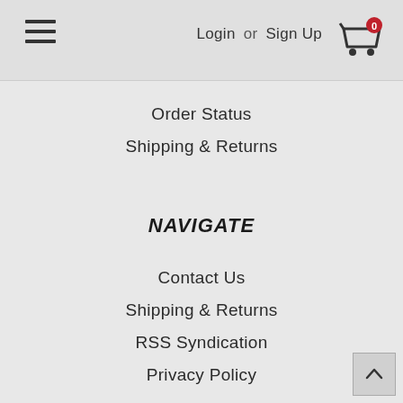Login or Sign Up
Order Status
Shipping & Returns
NAVIGATE
Contact Us
Shipping & Returns
RSS Syndication
Privacy Policy
JOIN OUR MAILING LIST
Sign up for our newsletter to receive specials and up to date product news and releases.